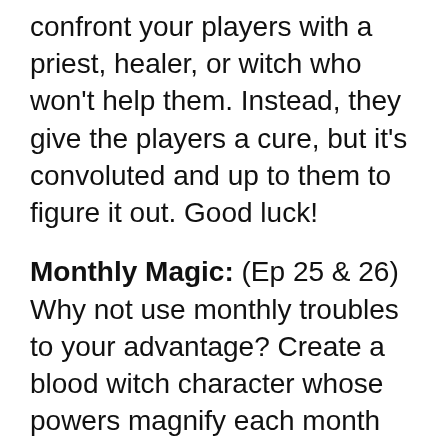confront your players with a priest, healer, or witch who won't help them. Instead, they give the players a cure, but it's convoluted and up to them to figure it out. Good luck!
Monthly Magic: (Ep 25 & 26) Why not use monthly troubles to your advantage? Create a blood witch character whose powers magnify each month while they menstruate! While not suited to all tables, this class option can provide a bit of mystery and humor to any party!
Stingray Spears: (Ep 25 & 26) Bring the age bolaa to life in